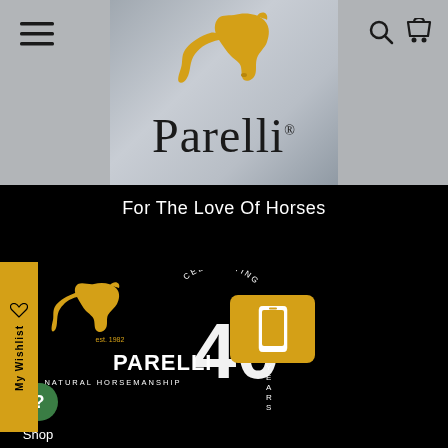[Figure (screenshot): Parelli Natural Horsemanship website screenshot. Top gray banner with hamburger menu on left, Parelli logo (golden horse head + Parelli wordmark) centered, search and cart icons on right. Background shows blurred photo of person with horse. Below is black background with tagline 'For The Love Of Horses'. Bottom shows Parelli 40th anniversary logo, a mobile/phone button icon, a green help circle, My Wishlist sidebar tab, and partial 'Shop' text.]